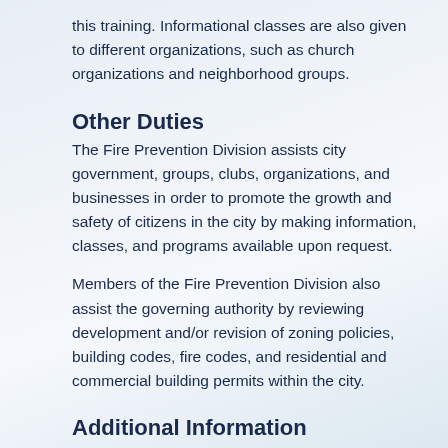this training. Informational classes are also given to different organizations, such as church organizations and neighborhood groups.
Other Duties
The Fire Prevention Division assists city government, groups, clubs, organizations, and businesses in order to promote the growth and safety of citizens in the city by making information, classes, and programs available upon request.
Members of the Fire Prevention Division also assist the governing authority by reviewing development and/or revision of zoning policies, building codes, fire codes, and residential and commercial building permits within the city.
Additional Information
If you would like information on how to host any of the above classes or have any questions regarding the training, contact the Fire Prevention Division at 541-450-